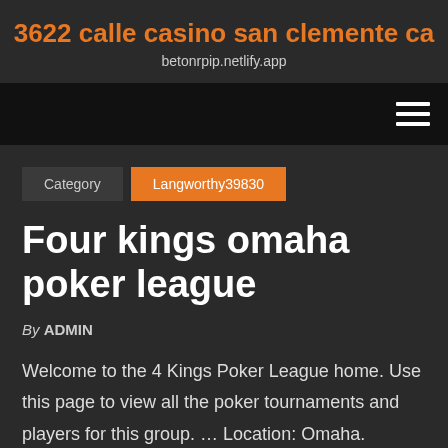3622 calle casino san clemente ca
betonrpip.netlify.app
Category  Langworthy39830
Four kings omaha poker league
By ADMIN
Welcome to the 4 Kings Poker League home. Use this page to view all the poker tournaments and players for this group. … Location: Omaha. Number of players …